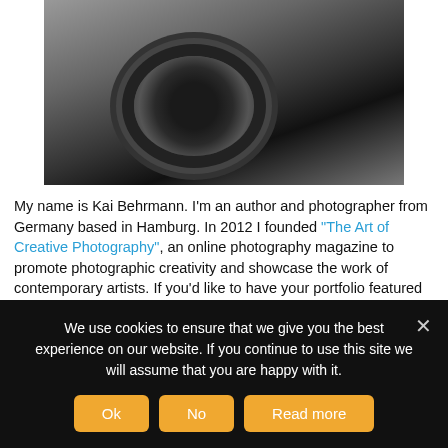[Figure (photo): Black and white photo of a person holding a camera up close to the lens, with other people visible in the background]
My name is Kai Behrmann. I'm an author and photographer from Germany based in Hamburg. In 2012 I founded "The Art of Creative Photography", an online photography magazine to promote photographic creativity and showcase the work of contemporary artists. If you'd like to have your portfolio featured or have any other question, please get in touch. My personal work can be seen on www.kaibehrmann.net and www.kaibehrmannphotography.com. If you speak German, please check out my podcast "Gate7" about
We use cookies to ensure that we give you the best experience on our website. If you continue to use this site we will assume that you are happy with it.
Ok
No
Read more